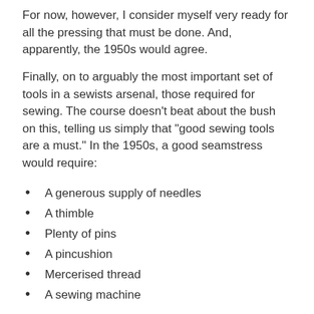For now, however, I consider myself very ready for all the pressing that must be done. And, apparently, the 1950s would agree.
Finally, on to arguably the most important set of tools in a sewists arsenal, those required for sewing. The course doesn’t beat about the bush on this, telling us simply that “good sewing tools are a must.” In the 1950s, a good seamstress would require:
A generous supply of needles
A thimble
Plenty of pins
A pincushion
Mercerised thread
A sewing machine
So, where do I fall on this count?